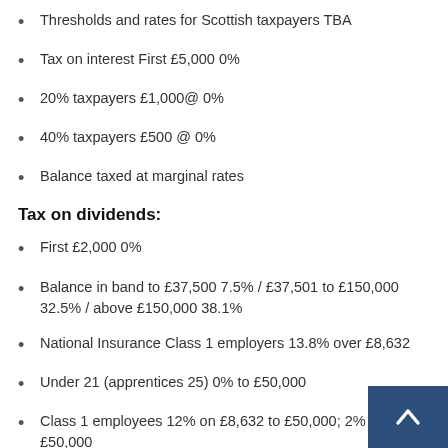Thresholds and rates for Scottish taxpayers TBA
Tax on interest First £5,000 0%
20% taxpayers £1,000@ 0%
40% taxpayers £500 @ 0%
Balance taxed at marginal rates
Tax on dividends:
First £2,000 0%
Balance in band to £37,500 7.5% / £37,501 to £150,000 32.5% / above £150,000 38.1%
National Insurance Class 1 employers 13.8% over £8,632
Under 21 (apprentices 25) 0% to £50,000
Class 1 employees 12% on £8,632 to £50,000; 2% above £50,000
Class 4 self-employed 9% on £8,632 to £50,000; 2%